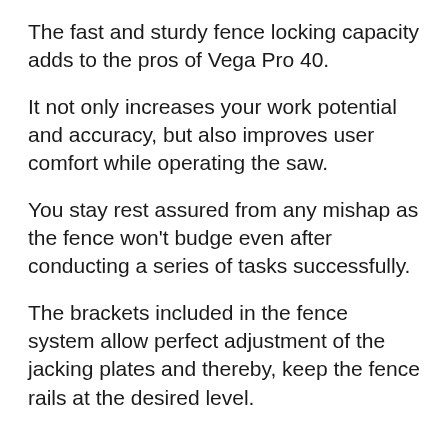The fast and sturdy fence locking capacity adds to the pros of Vega Pro 40.
It not only increases your work potential and accuracy, but also improves user comfort while operating the saw.
You stay rest assured from any mishap as the fence won’t budge even after conducting a series of tasks successfully.
The brackets included in the fence system allow perfect adjustment of the jacking plates and thereby, keep the fence rails at the desired level.